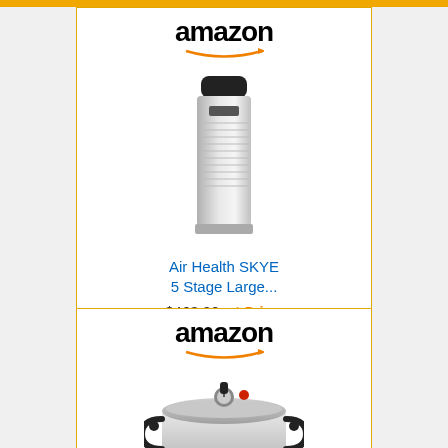[Figure (screenshot): Amazon product advertisement for Air Health SKYE 5 Stage Large air purifier priced at $463.99 with Prime badge and Shop now button]
[Figure (screenshot): Amazon product advertisement for T-fal Pressure Cooker with Shop now button (partially visible)]